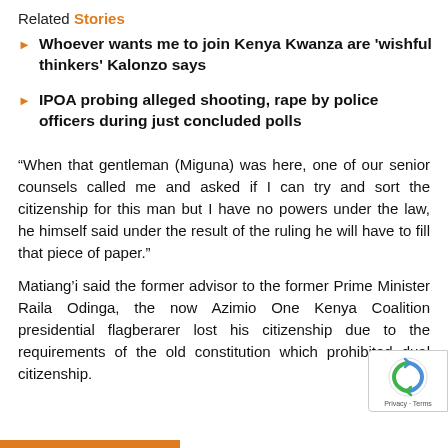Related Stories
Whoever wants me to join Kenya Kwanza are 'wishful thinkers' Kalonzo says
IPOA probing alleged shooting, rape by police officers during just concluded polls
“When that gentleman (Miguna) was here, one of our senior counsels called me and asked if I can try and sort the citizenship for this man but I have no powers under the law, he himself said under the result of the ruling he will have to fill that piece of paper.”
Matiang’i said the former advisor to the former Prime Minister Raila Odinga, the now Azimio One Kenya Coalition presidential flagberarer lost his citizenship due to the requirements of the old constitution which prohibited dual citizenship.